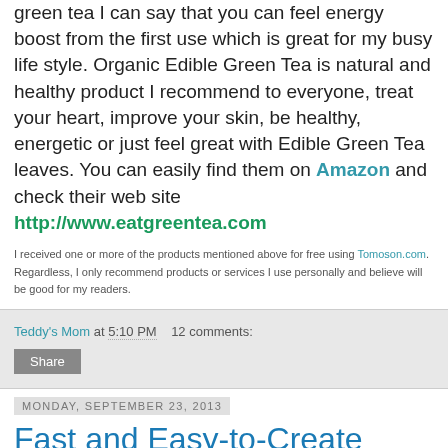green tea I can say that you can feel energy boost from the first use which is great for my busy life style. Organic Edible Green Tea is natural and healthy product I recommend to everyone, treat your heart, improve your skin, be healthy, energetic or just feel great with Edible Green Tea leaves. You can easily find them on Amazon and check their web site http://www.eatgreentea.com
I received one or more of the products mentioned above for free using Tomoson.com. Regardless, I only recommend products or services I use personally and believe will be good for my readers.
Teddy's Mom at 5:10 PM   12 comments:
Share
Monday, September 23, 2013
Fast and Easy-to-Create Collages with Collagelt 3 Pro for Mac
If you like taking lots of pictures and